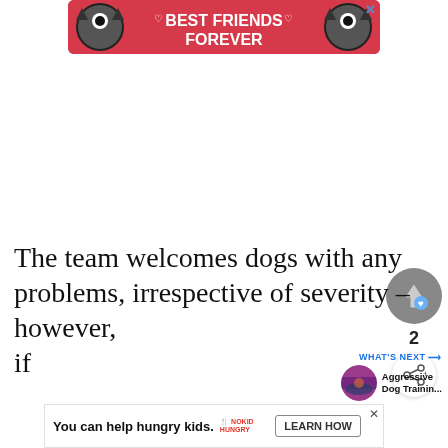[Figure (advertisement): Pink/red banner ad with two cat faces and 'BEST FRIENDS FOREVER' text with hearts]
[Figure (other): Upvote button (grey circle with up-arrow and heart icon), vote count '2', and share button (white circle with share icon)]
[Figure (other): WHAT'S NEXT promo thumbnail with 'Aggressive Dog Trainin...' text and circular image]
The team welcomes dogs with any problems, irrespective of severity – however, if
[Figure (advertisement): Bottom banner ad: 'You can help hungry kids.' with No Kid Hungry logo and LEARN HOW button]